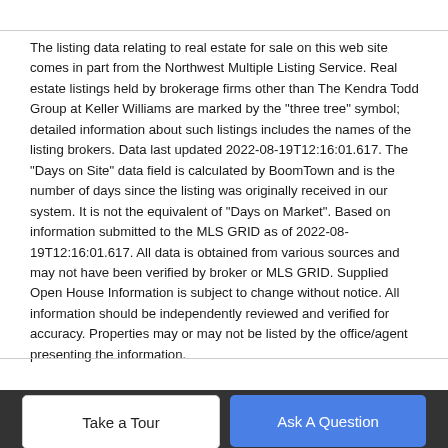The listing data relating to real estate for sale on this web site comes in part from the Northwest Multiple Listing Service. Real estate listings held by brokerage firms other than The Kendra Todd Group at Keller Williams are marked by the "three tree" symbol; detailed information about such listings includes the names of the listing brokers. Data last updated 2022-08-19T12:16:01.617. The "Days on Site" data field is calculated by BoomTown and is the number of days since the listing was originally received in our system. It is not the equivalent of "Days on Market". Based on information submitted to the MLS GRID as of 2022-08-19T12:16:01.617. All data is obtained from various sources and may not have been verified by broker or MLS GRID. Supplied Open House Information is subject to change without notice. All information should be independently reviewed and verified for accuracy. Properties may or may not be listed by the office/agent presenting the information.